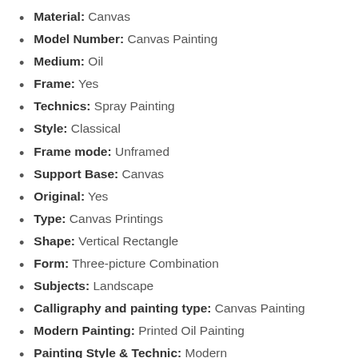Material: Canvas
Model Number: Canvas Painting
Medium: Oil
Frame: Yes
Technics: Spray Painting
Style: Classical
Frame mode: Unframed
Support Base: Canvas
Original: Yes
Type: Canvas Printings
Shape: Vertical Rectangle
Form: Three-picture Combination
Subjects: Landscape
Calligraphy and painting type: Canvas Painting
Modern Painting: Printed Oil Painting
Painting Style & Technic: Modern